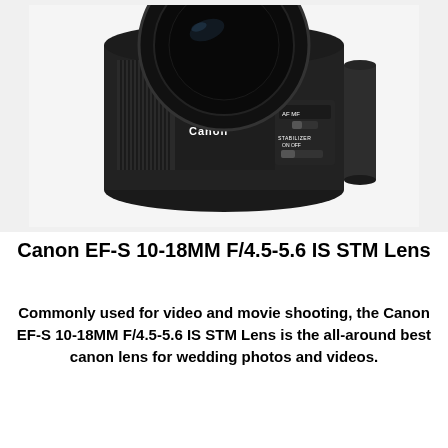[Figure (photo): Canon EF-S 10-18mm F/4.5-5.6 IS STM lens photograph, showing the black camera lens from the side with zoom ring, focus distance markings (10, 12, 14, 16, 18), EFS 10-18mm label, AF/MF switch, and STABILIZER ON/OFF switch visible.]
Canon EF-S 10-18MM F/4.5-5.6 IS STM Lens
Commonly used for video and movie shooting, the Canon EF-S 10-18MM F/4.5-5.6 IS STM Lens is the all-around best canon lens for wedding photos and videos.